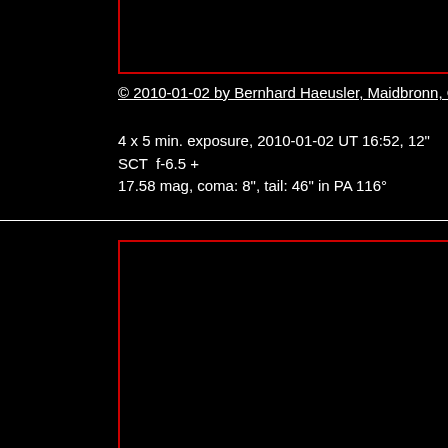[Figure (photo): Top astronomical image panel with red border, mostly black/dark sky]
© 2010-01-02 by Bernhard Haeusler, Maidbronn, Germany
4 x 5 min. exposure, 2010-01-02 UT 16:52, 12" SCT  f-6.5 + 17.58 mag, coma: 8", tail: 46" in PA 116°
[Figure (photo): Bottom astronomical image panel with red border, mostly black/dark sky]